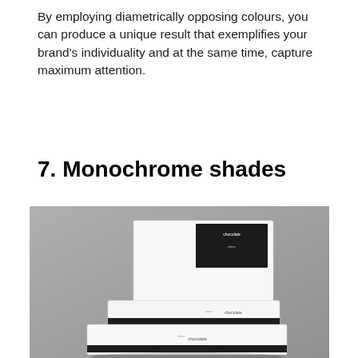By employing diametrically opposing colours, you can produce a unique result that exemplifies your brand's individuality and at the same time, capture maximum attention.
7. Monochrome shades
[Figure (photo): Photo of white monochrome chocolate packaging boxes stacked on a grey background, with black label accents and the word 'chocolate' printed on them.]